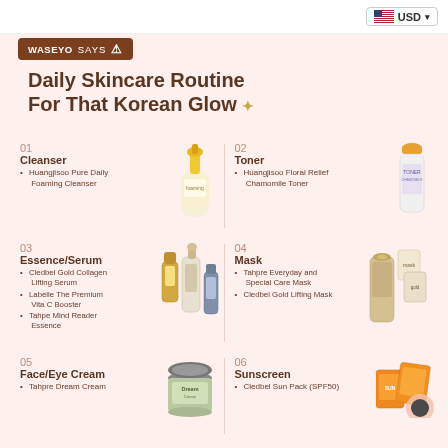USD
WASEYO SAYS
Daily Skincare Routine For That Korean Glow
01 Cleanser
• Huangjisoo Pure Daily Foaming Cleanser
02 Toner
• Huangjisoo Floral Relief Chamomile Toner
03 Essence/Serum
• Cledbel Gold Collagen Lifting Serum
• Labelle The Premium Vita C Booster
• Tahpe Mind Reader Essence
04 Mask
• Tahpre Everyday and Special Care Mask
• Cledbel Gold Lifting Mask
05 Face/Eye Cream
• Tahpre Dream Cream
06 Sunscreen
• Cledbel Sun Pack (SPF50)